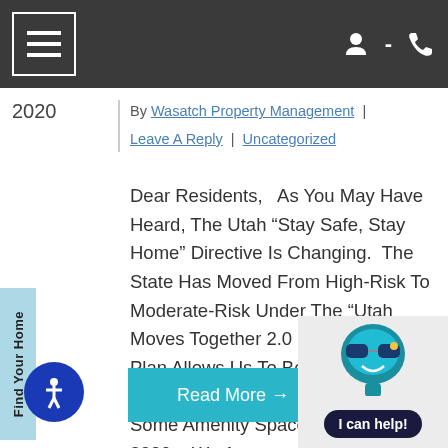Navigation bar with menu icon and user/phone icons
2020
By Wasatch Property Management | Leave A Reply | Uncategorized
Dear Residents,   As You May Have Heard, The Utah “Stay Safe, Stay Home” Directive Is Changing.  The State Has Moved From High-Risk To Moderate-Risk Under The “Utah Moves Together 2.0 Plan”.  This Plan Allows Us To Begin Re-Opening Our Offices As Well As Some Amenity Spaces As Of May 4, 2020.   We Are...
Read More →
[Figure (illustration): Find Your Home sidebar tab (light blue vertical tab on left side)]
[Figure (illustration): Chatbot character with sunglasses and 'I can help!' label]
[Figure (illustration): Accessibility icon - white person figure on dark blue circle]